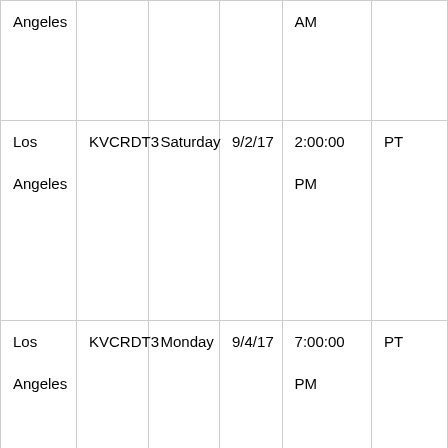| City | Station | Day | Date | Time | TZ |
| --- | --- | --- | --- | --- | --- |
| Los Angeles |  |  |  | AM |  |
| Los Angeles | KVCRDT3 | Saturday | 9/2/17 | 2:00:00 PM | PT |
| Los Angeles | KVCRDT3 | Monday | 9/4/17 | 7:00:00 PM | PT |
| Los Angeles | KVCRDT3 | Tuesday | 9/5/17 | 3:00:00 PM | PT |
| Los Angeles | KVCRDT3 | Saturday | 9/9/17 | 2:30:00 | PT |